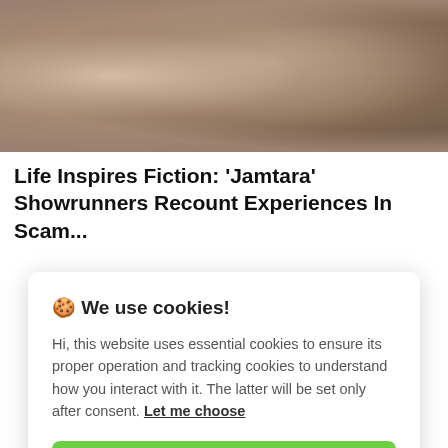[Figure (photo): Two people in close conversation in the foreground; additional people visible in background. Still from Jamtara TV show.]
Life Inspires Fiction: 'Jamtara' Showrunners Recount Experiences In Scam...
🍪 We use cookies!
Hi, this website uses essential cookies to ensure its proper operation and tracking cookies to understand how you interact with it. The latter will be set only after consent. Let me choose
Accept all
Reject all